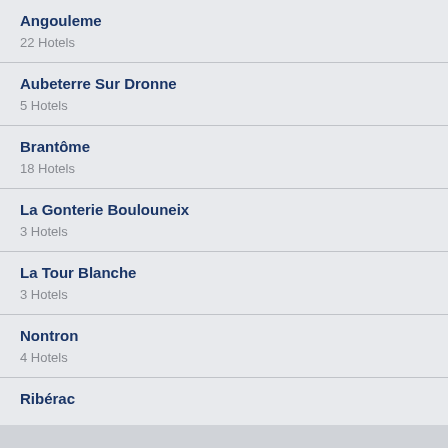Angouleme
22 Hotels
Aubeterre Sur Dronne
5 Hotels
Brantôme
18 Hotels
La Gonterie Boulouneix
3 Hotels
La Tour Blanche
3 Hotels
Nontron
4 Hotels
Ribérac